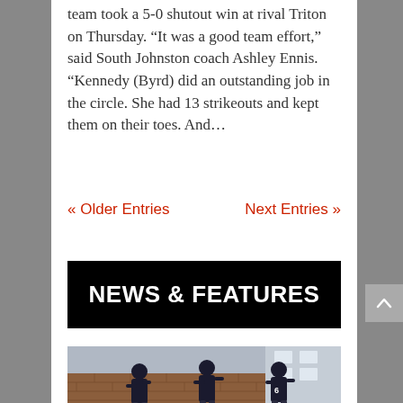team took a 5-0 shutout win at rival Triton on Thursday. “It was a good team effort,” said South Johnston coach Ashley Ennis. “Kennedy (Byrd) did an outstanding job in the circle. She had 13 strikeouts and kept them on their toes. And…
« Older Entries    Next Entries »
NEWS & FEATURES
[Figure (photo): Baseball players in dark uniforms on a field near a brick wall building, one player wearing number 6]